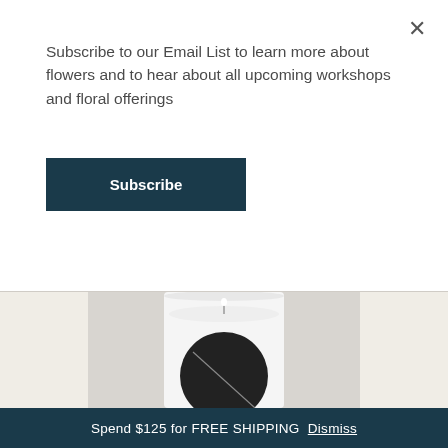Subscribe to our Email List to learn more about flowers and to hear about all upcoming workshops and floral offerings
×
Subscribe
[Figure (photo): A white candle jar with a lit wick and a black circular label, photographed against a light grey/white background. The bottom portion of the candle jar is visible with a diagonal line on the black label.]
Spend $125 for FREE SHIPPING  Dismiss